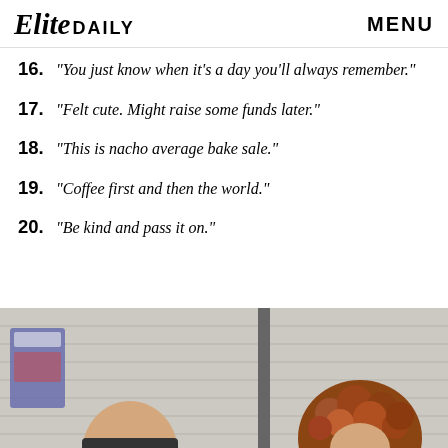Elite DAILY   MENU
16. "You just know when it's a day you'll always remember."
17. "Felt cute. Might raise some funds later."
18. "This is nacho average bake sale."
19. "Coffee first and then the world."
20. "Be kind and pass it on."
[Figure (photo): Two people photographed against a white wooden plank background. Left: a person with a shaved/bald head. Right: a person with voluminous curly reddish-brown hair. The image is cropped showing heads and shoulders at the bottom of the page.]